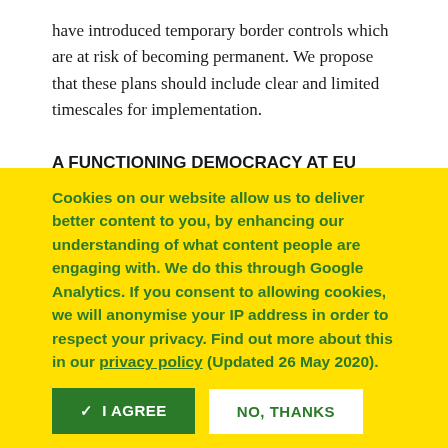have introduced temporary border controls which are at risk of becoming permanent. We propose that these plans should include clear and limited timescales for implementation.
A FUNCTIONING DEMOCRACY AT EU LEVEL IS KEY FOR CITIZENS
12. Citizens must be able to see that they can determine decisions taken at the EU level. The EU institutional framework must develop further into a supranational democracy in which public
Cookies on our website allow us to deliver better content to you, by enhancing our understanding of what content people are engaging with. We do this through Google Analytics. If you consent to allowing cookies, we will anonymise your IP address in order to respect your privacy. Find out more about this in our privacy policy (Updated 26 May 2020).
✓ I AGREE
NO, THANKS